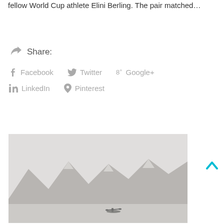fellow World Cup athlete Elini Berling. The pair matched…
Share: Facebook  Twitter  Google+  LinkedIn  Pinterest
[Figure (photo): Black and white photo of a person kayaking on a calm body of water with snow-capped mountains in the background]
[Figure (other): Back to top arrow button (cyan upward chevron)]